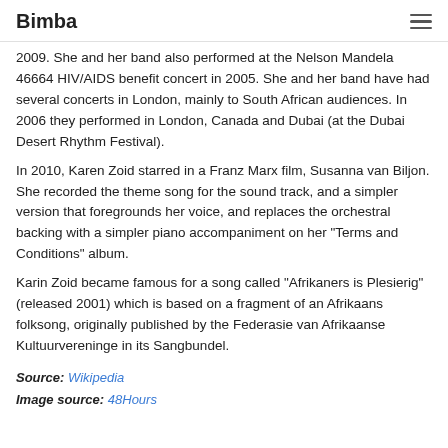Bimba
2009. She and her band also performed at the Nelson Mandela 46664 HIV/AIDS benefit concert in 2005. She and her band have had several concerts in London, mainly to South African audiences. In 2006 they performed in London, Canada and Dubai (at the Dubai Desert Rhythm Festival).
In 2010, Karen Zoid starred in a Franz Marx film, Susanna van Biljon. She recorded the theme song for the sound track, and a simpler version that foregrounds her voice, and replaces the orchestral backing with a simpler piano accompaniment on her "Terms and Conditions" album.
Karin Zoid became famous for a song called "Afrikaners is Plesierig" (released 2001) which is based on a fragment of an Afrikaans folksong, originally published by the Federasie van Afrikaanse Kultuurvereninge in its Sangbundel.
Source: Wikipedia
Image source: 48Hours